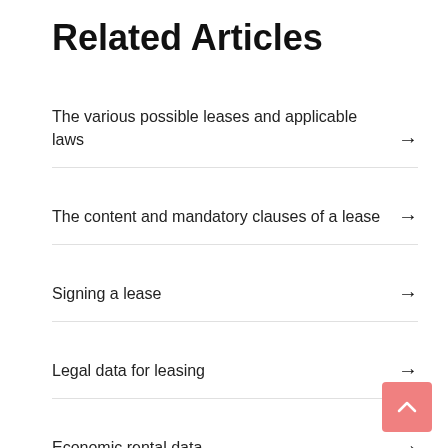Related Articles
The various possible leases and applicable laws
The content and mandatory clauses of a lease
Signing a lease
Legal data for leasing
Economic rental data
Holiday rental